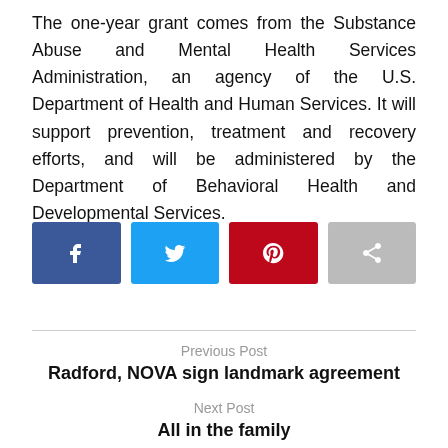The one-year grant comes from the Substance Abuse and Mental Health Services Administration, an agency of the U.S. Department of Health and Human Services. It will support prevention, treatment and recovery efforts, and will be administered by the Department of Behavioral Health and Developmental Services.
[Figure (infographic): Four social sharing buttons: Facebook (dark blue with f icon), Twitter (light blue with bird icon), Pinterest (red with pin icon), Share (gray with share icon)]
Previous Post
Radford, NOVA sign landmark agreement
Next Post
All in the family